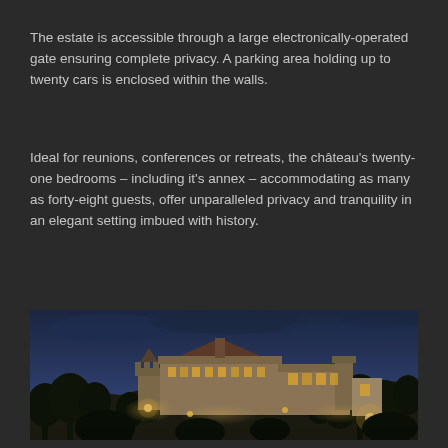The estate is accessible through a large electronically-operated gate ensuring complete privacy. A parking area holding up to twenty cars is enclosed within the walls.
Ideal for reunions, conferences or retreats, the château's twenty-one bedrooms – including it's annex – accommodating as many as forty-eight guests, offer unparalleled privacy and tranquility in an elegant setting imbued with history.
[Figure (photo): Night-time photograph of an illuminated French château built on a rocky hillside, surrounded by dark trees and moody blue twilight sky. The stone castle is lit with warm uplights highlighting its towers and walls.]